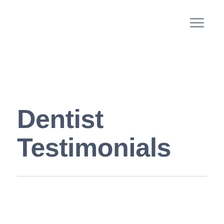[Figure (other): Hamburger menu icon with three horizontal lines in the top-right corner]
Dentist Testimonials